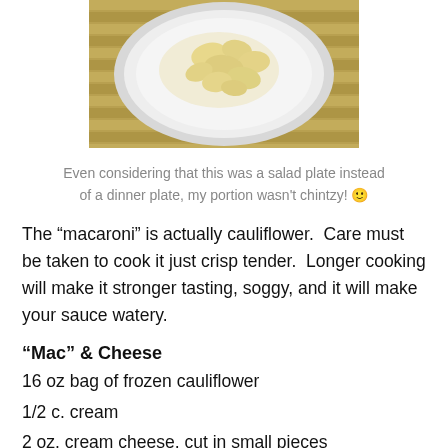[Figure (photo): A white plate with cauliflower mac and cheese on a bamboo mat background, viewed from above]
Even considering that this was a salad plate instead of a dinner plate, my portion wasn't chintzy! 🙂
The “macaroni” is actually cauliflower.  Care must be taken to cook it just crisp tender.  Longer cooking will make it stronger tasting, soggy, and it will make your sauce watery.
“Mac” & Cheese
16 oz bag of frozen cauliflower
1/2 c. cream
2 oz. cream cheese, cut in small pieces